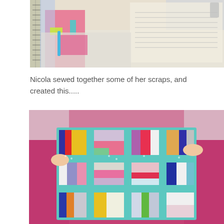[Figure (photo): Top partial photo showing colorful fabric scraps, a ruler, and sewing materials on a table]
Nicola sewed together some of her scraps, and created this.....
[Figure (photo): A person holding up a patchwork quilt made from colorful fabric scraps sewn together in a grid of squares with teal polka-dot sashing]